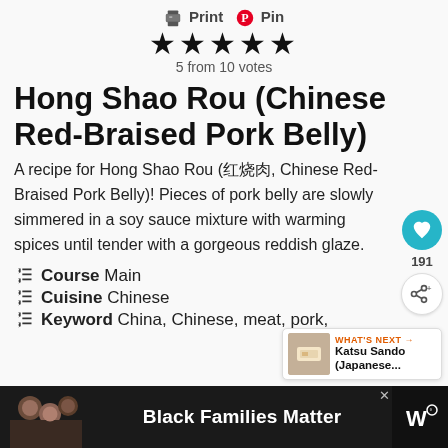[Figure (other): Print and Pin icons with text: Print  Pin]
[Figure (other): Five filled star rating icons]
5 from 10 votes
Hong Shao Rou (Chinese Red-Braised Pork Belly)
A recipe for Hong Shao Rou (红烧肉, Chinese Red-Braised Pork Belly)! Pieces of pork belly are slowly simmered in a soy sauce mixture with warming spices until tender with a gorgeous reddish glaze.
Course  Main
Cuisine  Chinese
Keyword  China, Chinese, meat, pork,
[Figure (other): WHAT'S NEXT → Katsu Sando (Japanese... widget with food photo]
[Figure (other): Advertisement bar: Black Families Matter with photo of people and logo]